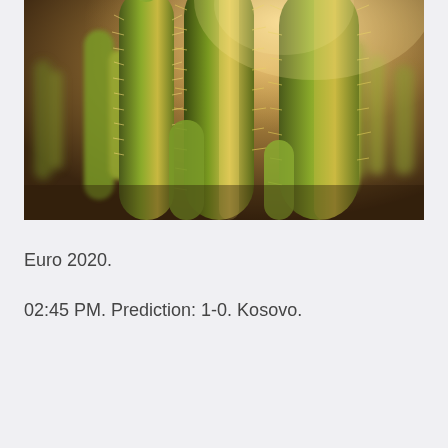[Figure (photo): Close-up photograph of tall cactus plants (cholla or similar spiny columnar cacti) with golden sunlight backlighting the spines, creating a warm yellow-green glow. The background is slightly blurred with more cacti and warm light.]
Euro 2020.
02:45 PM. Prediction: 1-0. Kosovo.